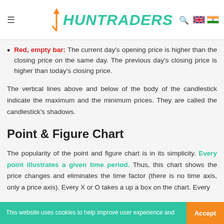HUNTRADERS
Red, empty bar: The current day's opening price is higher than the closing price on the same day. The previous day's closing price is higher than today's closing price.
The vertical lines above and below of the body of the candlestick indicate the maximum and the minimum prices. They are called the candlestick's shadows.
Point & Figure Chart
The popularity of the point and figure chart is in its simplicity. Every point illustrates a given time period. Thus, this chart shows the price changes and eliminates the time factor (there is no time axis, only a price axis). Every X or O takes a up a box on the chart. Every
This website uses cookies to help improve user experience and